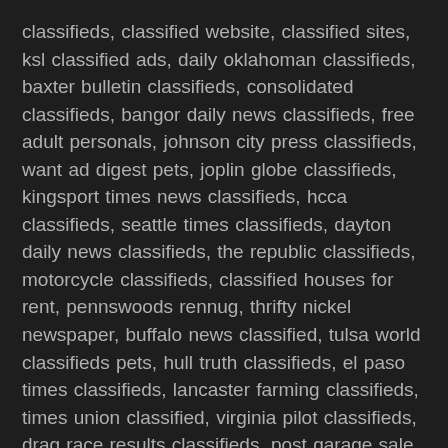classifieds, classified website, classified sites, ksl classified ads, daily oklahoman classifieds, baxter bulletin classifieds, consolidated classifieds, bangor daily news classifieds, free adult personals, johnson city press classifieds, want ad digest pets, joplin globe classifieds, kingsport times news classifieds, hcca classifieds, seattle times classifieds, dayton daily news classifieds, the republic classifieds, motorcycle classifieds, classified houses for rent, pennswoods rennug, thrifty nickel newspaper, buffalo news classified, tulsa world classifieds pets, hull truth classifieds, el paso times classifieds, lancaster farming classifieds, times union classified, virginia pilot classifieds, drag race results classifieds, post garage sale, local personal classifieds near me, best classified sites, setx classifieds, hamodia classifieds, star tribune classifieds, anniston star classifieds, billings gazette classifieds, herald dispatch classifieds, ksl ads, hoobly puppies for sale, cincinnati enquirer